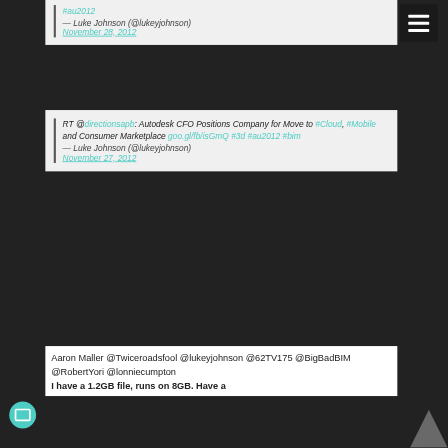#au2012 — Luke Johnson (@lukeyjohnson) November 28, 2012
RT @directionsapb: Autodesk CFO Positions Company for Move to #Cloud, #Mobile and Consumer Marketplace goo.gl/fb/isGmQ #3d #au2012 #bim — Luke Johnson (@lukeyjohnson) November 27, 2012
Aaron Maller @Twiceroadsfool @lukeyjohnson @62TV175 @BigBadBIM @RobertYori @lonniecumpton I have a 1.2GB file, runs on 8GB. Have a